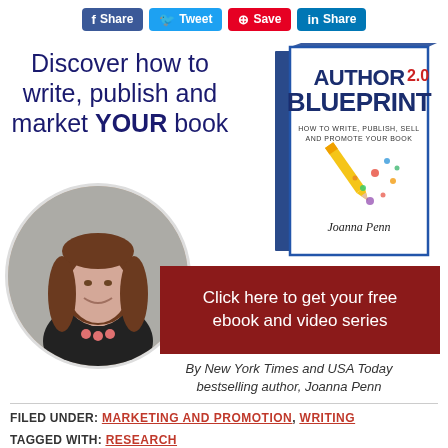[Figure (infographic): Social share bar with Facebook Share, Tweet, Pinterest Save, and LinkedIn Share buttons]
Discover how to write, publish and market YOUR book
[Figure (illustration): Book cover: Author 2.0 Blueprint - How to Write, Publish, Sell and Promote Your Book by Joanna Penn]
[Figure (photo): Circular portrait photo of Joanna Penn, a woman with long brown hair smiling, wearing a dark top with pink necklace]
Click here to get your free ebook and video series
By New York Times and USA Today bestselling author, Joanna Penn
FILED UNDER: MARKETING AND PROMOTION, WRITING
TAGGED WITH: RESEARCH